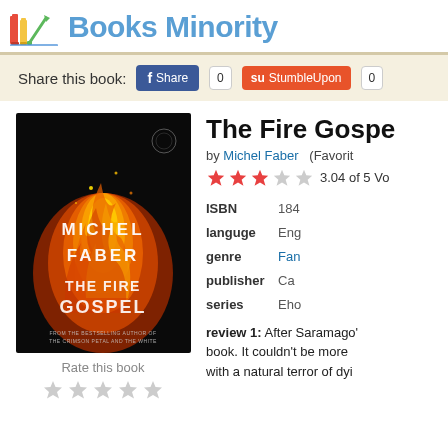Books Minority
Share this book:
The Fire Gospe
by Michel Faber (Favorite
3.04 of 5 Vo
| Field | Value |
| --- | --- |
| ISBN | 184 |
| languge | Eng |
| genre | Fan |
| publisher | Ca |
| series | Eho |
review 1: After Saramago' book. It couldn't be more with a natural terror of dyi
Rate this book